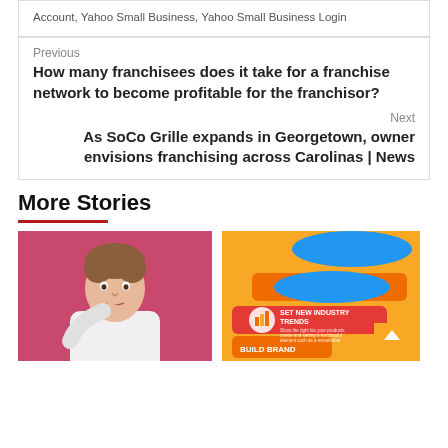Account, Yahoo Small Business, Yahoo Small Business Login
Previous
How many franchisees does it take for a franchise network to become profitable for the franchisor?
Next
As SoCo Grille expands in Georgetown, owner envisions franchising across Carolinas | News
More Stories
[Figure (photo): Man in white shirt on pink background, hand on chin thinking pose]
[Figure (infographic): Colorful infographic with blue, red, orange shapes and text 'SET NEW INDUSTRY TRENDS' and 'BUILD BRAND']